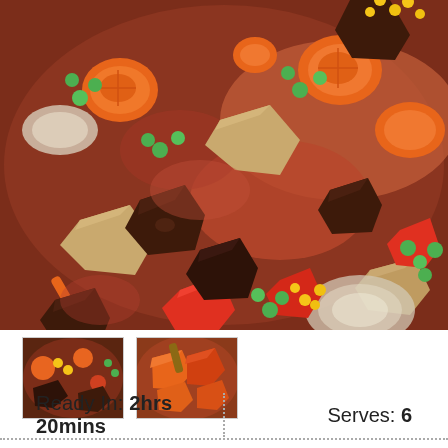[Figure (photo): Close-up photo of a beef stew with vegetables including carrots, peas, corn, potatoes, onions, and red peppers in a rich tomato-based sauce.]
[Figure (photo): Small thumbnail image of a beef and vegetable stir-fry or stew dish.]
[Figure (photo): Small thumbnail image of a chunky vegetable and beef dish with carrots and peppers.]
Ready In: 2hrs 20mins
Serves: 6